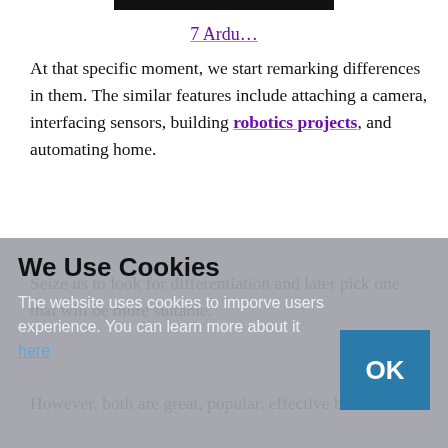[Figure (screenshot): Black navigation bar at top of webpage]
7 Ardu…
At that specific moment, we start remarking differences in them. The similar features include attaching a camera, interfacing sensors, building robotics projects, and automating home.
Seize us to look for differentiation and later pick one that will be more suitable.
However, both are great, popular, effective but
We Use Cookies
The website uses cookies to imporve users experience. You can learn more about it here